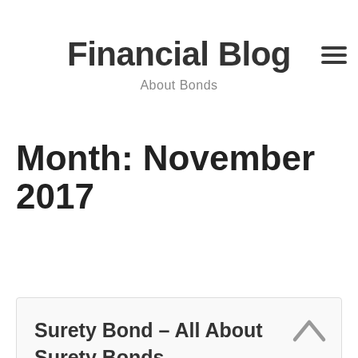Financial Blog
About Bonds
Month: November 2017
Surety Bond – All About Surety Bonds